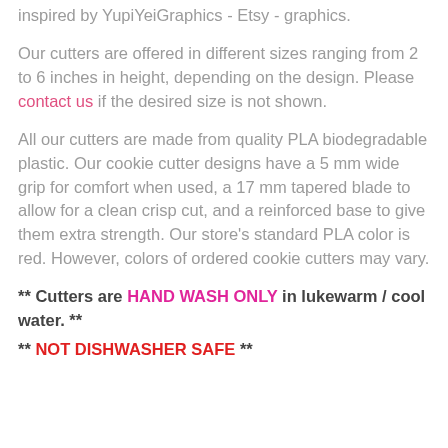inspired by YupiYeiGraphics - Etsy - graphics.
Our cutters are offered in different sizes ranging from 2 to 6 inches in height, depending on the design. Please contact us if the desired size is not shown.
All our cutters are made from quality PLA biodegradable plastic. Our cookie cutter designs have a 5 mm wide grip for comfort when used, a 17 mm tapered blade to allow for a clean crisp cut, and a reinforced base to give them extra strength. Our store's standard PLA color is red. However, colors of ordered cookie cutters may vary.
** Cutters are HAND WASH ONLY in lukewarm / cool water. **
** NOT DISHWASHER SAFE **